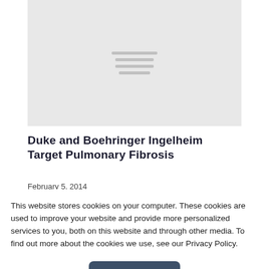[Figure (other): Gray placeholder image with a hamburger menu icon in the center]
Duke and Boehringer Ingelheim Target Pulmonary Fibrosis
February 5, 2014
This website stores cookies on your computer. These cookies are used to improve your website and provide more personalized services to you, both on this website and through other media. To find out more about the cookies we use, see our Privacy Policy.